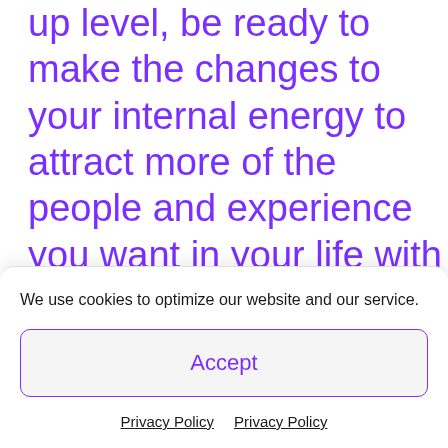When you're ready to up level, be ready to make the changes to your internal energy to attract more of the people and experience you want in your life with ease. Be aware that the up
We use cookies to optimize our website and our service.
Accept
Privacy Policy  Privacy Policy